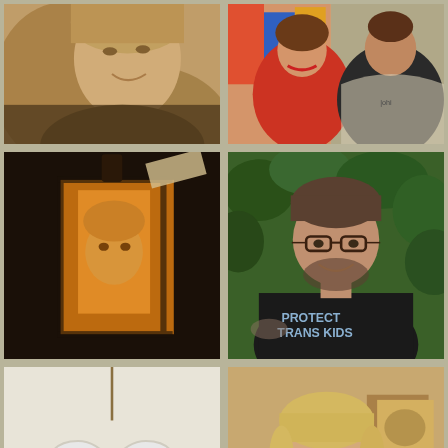[Figure (photo): Close-up sepia-toned photo of a young woman smiling, with light blonde hair, looking slightly to the side]
[Figure (photo): Photo of a woman in a red top and a man in a dark shirt standing together, colorful background]
[Figure (photo): Dark artistic photo of a glowing amber lantern with a portrait of a young person's face illuminated inside]
[Figure (photo): Man with glasses and beard wearing a black t-shirt that reads 'PROTECT TRANS KIDS', standing in front of green ivy]
[Figure (photo): White ceramic heart ornament with a small pink heart and the words 'i am grateful' in stamped black text, hanging by twine]
[Figure (photo): Smiling older woman with blonde hair and glasses wearing a teal jacket, seated at a wooden table in a warm interior setting]